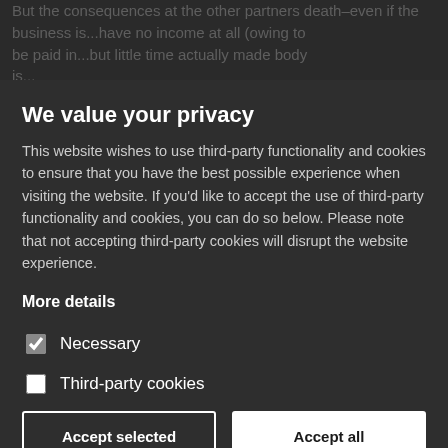But the consequences at the other partners death-even if the business is...have no income at all (owing to be paid in...but little time actually made body is...partners demise.
We value your privacy
This website wishes to use third-party functionality and cookies to ensure that you have the best possible experience when visiting the website. If you'd like to accept the use of third-party functionality and cookies, you can do so below. Please note that not accepting third-party cookies will disrupt the website experience.
More details
Necessary
Third-party cookies
Accept selected
Accept all
If you or your partner were to pass away, it would have possible to a financial disaster in addition to the loss all...